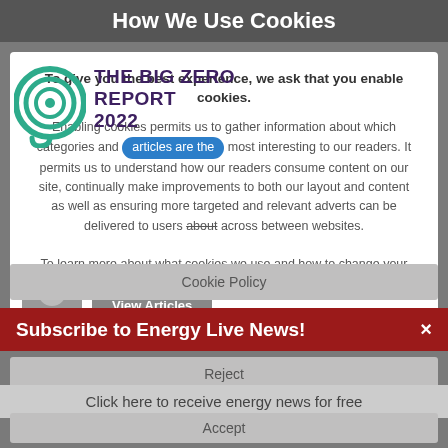How We Use Cookies
[Figure (logo): The Big Zero Report 2022 logo with circular swirl icon in teal/green]
To give you the best experience, we ask that you enable cookies.
Enabling cookies permits us to gather information about which categories and articles are the most interesting to our readers. It permits us to understand how our readers consume content on our site, continually make improvements to both our layout and content as well as ensuring more targeted and relevant adverts can be delivered to users across between websites.
To learn more about what cookies we use and how to change your preferences please check our cookie policy.
Kiran Bose
View Articles
Friday 25 March 2022
Cookie Policy
Subscribe to Energy Live News!
Reject
Click here to receive energy news for free
Accept